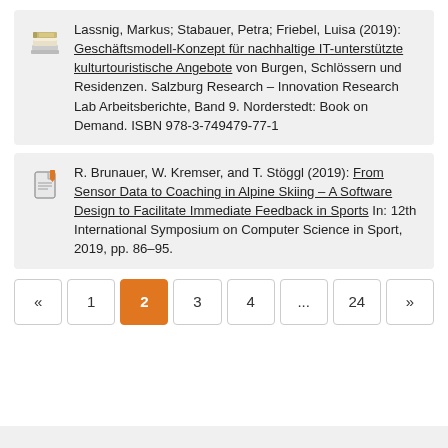Lassnig, Markus; Stabauer, Petra; Friebel, Luisa (2019): Geschäftsmodell-Konzept für nachhaltige IT-unterstützte kulturtouristische Angebote von Burgen, Schlössern und Residenzen. Salzburg Research – Innovation Research Lab Arbeitsberichte, Band 9. Norderstedt: Book on Demand. ISBN 978-3-749479-77-1
R. Brunauer, W. Kremser, and T. Stöggl (2019): From Sensor Data to Coaching in Alpine Skiing – A Software Design to Facilitate Immediate Feedback in Sports In: 12th International Symposium on Computer Science in Sport, 2019, pp. 86–95.
« 1 2 3 4 ... 24 »